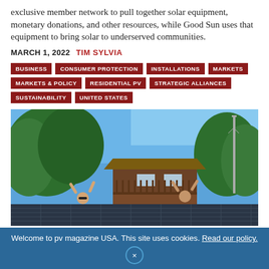exclusive member network to pull together solar equipment, monetary donations, and other resources, while Good Sun uses that equipment to bring solar to underserved communities.
MARCH 1, 2022  TIM SYLVIA
BUSINESS
CONSUMER PROTECTION
INSTALLATIONS
MARKETS
MARKETS & POLICY
RESIDENTIAL PV
STRATEGIC ALLIANCES
SUSTAINABILITY
UNITED STATES
[Figure (photo): People with raised hands visible above solar panels on a rooftop, with a brown two-story house and green trees in the background under a blue sky.]
Welcome to pv magazine USA. This site uses cookies. Read our policy.